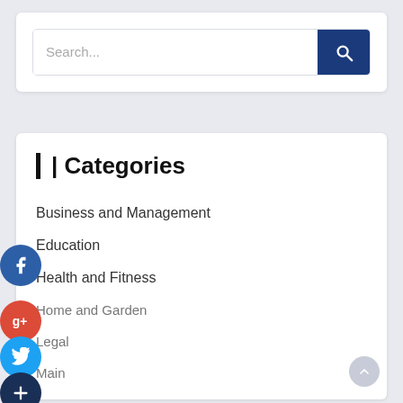[Figure (screenshot): Search bar with text input placeholder 'Search...' and a dark blue search button with magnifying glass icon]
Categories
Business and Management
Education
Health and Fitness
Home and Garden
Legal
Main